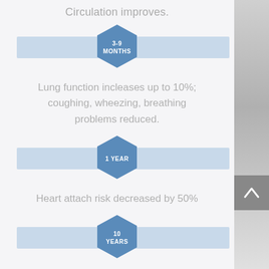Circulation improves.
[Figure (infographic): Hexagon badge with horizontal blue bar timeline marker showing '3-9 MONTHS']
Lung function incleases up to 10%; coughing, wheezing, breathing problems reduced.
[Figure (infographic): Hexagon badge with horizontal blue bar timeline marker showing '1 YEAR']
Heart attach risk decreased by 50%
[Figure (infographic): Hexagon badge with horizontal blue bar timeline marker showing '10 YEARS']